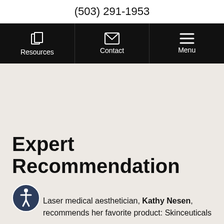(503) 291-1953
[Figure (screenshot): Navigation bar with three items: Resources (document icon), Contact (envelope icon), Menu (hamburger icon) on black background]
Expert Recommendation
Laser medical aesthetician, Kathy Nesen, recommends her favorite product: Skinceuticals